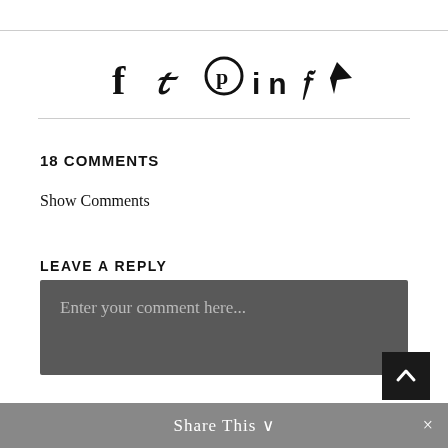[Figure (other): Social sharing icons: Facebook, Twitter, Pinterest, LinkedIn, Xing, email/send]
18 COMMENTS
Show Comments
LEAVE A REPLY
Enter your comment here...
Share This ∨  ×